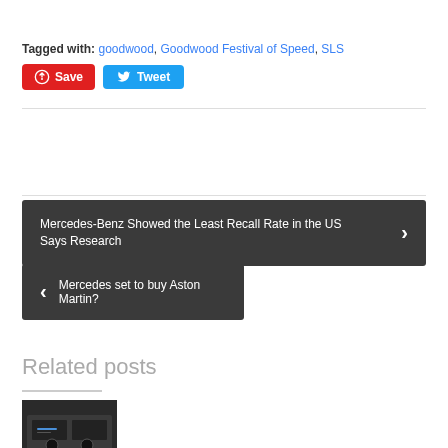Tagged with: goodwood, Goodwood Festival of Speed, SLS
Save  Tweet
Mercedes-Benz Showed the Least Recall Rate in the US Says Research
Mercedes set to buy Aston Martin?
Related posts
[Figure (photo): Car interior dashboard photo thumbnail]
[Figure (photo): Dark sports car exterior photo thumbnail]